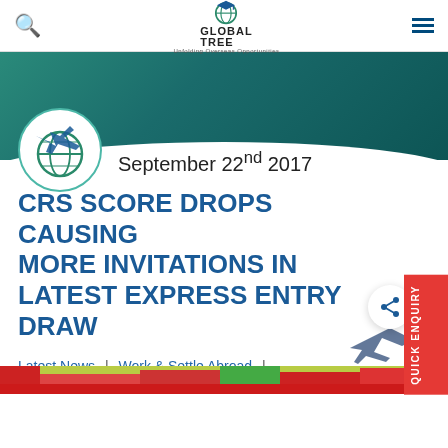Global Tree — navigation bar with search, logo, and menu
September 22nd 2017
CRS SCORE DROPS CAUSING MORE INVITATIONS IN LATEST EXPRESS ENTRY DRAW
Latest News | Work & Settle Abroad | Permanent Resident
[Figure (photo): Bottom strip image showing a colorful scene, partially visible]
[Figure (infographic): QUICK ENQUIRY red vertical sidebar tab on the right]